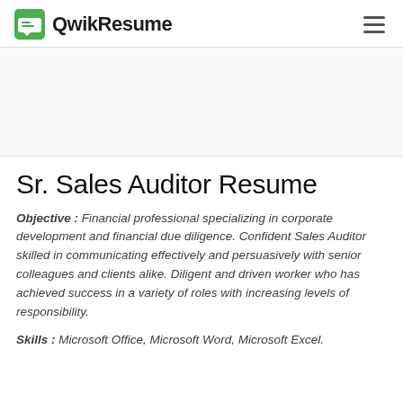QwikResume
Sr. Sales Auditor Resume
Objective : Financial professional specializing in corporate development and financial due diligence. Confident Sales Auditor skilled in communicating effectively and persuasively with senior colleagues and clients alike. Diligent and driven worker who has achieved success in a variety of roles with increasing levels of responsibility.
Skills : Microsoft Office, Microsoft Word, Microsoft Excel.